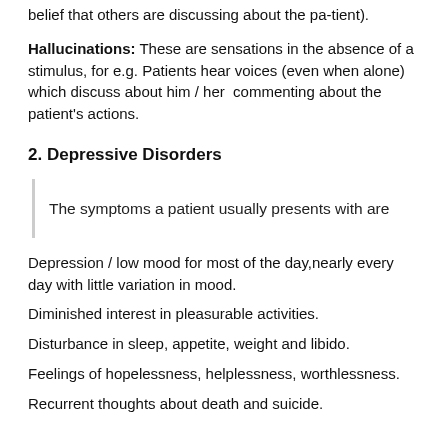belief that others are discussing about the pa-tient).
Hallucinations: These are sensations in the absence of a stimulus, for e.g. Patients hear voices (even when alone) which discuss about him / her  commenting about the patient's actions.
2. Depressive Disorders
The symptoms a patient usually presents with are
Depression / low mood for most of the day,nearly every day with little variation in mood.
Diminished interest in pleasurable activities.
Disturbance in sleep, appetite, weight and libido.
Feelings of hopelessness, helplessness, worthlessness.
Recurrent thoughts about death and suicide.